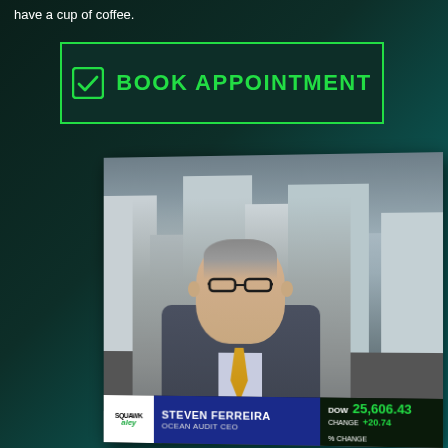have a cup of coffee.
✅  BOOK APPOINTMENT
[Figure (photo): TV screen showing a news broadcast with Steven Ferreira, Ocean Audit CEO, on SQUAWK Alley. Lower third shows DOW 25,606.43, CHANGE +20.74. Ticker bar at bottom shows stock prices including 119.97 +6.52 and Unilever PLC (UL) 61.7...]